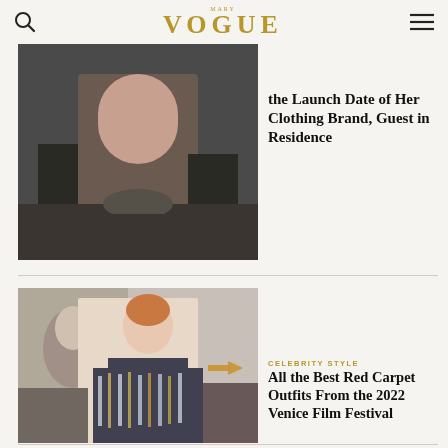VOGUE
[Figure (photo): Partial photo of a person in dark clothing, cropped at top]
the Launch Date of Her Clothing Brand, Guest in Residence
[Figure (photo): Julianne Moore in a sparkling silver fringe gown at the Venice Film Festival red carpet, with photographers in background]
CELEBRITY STYLE
All the Best Red Carpet Outfits From the 2022 Venice Film Festival
[Figure (photo): Partial photo of a person with blonde updo hair at bottom of page]
FASHION
Lebanese Comedian